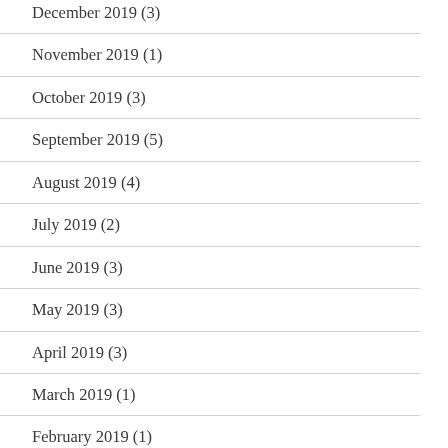December 2019 (3)
November 2019 (1)
October 2019 (3)
September 2019 (5)
August 2019 (4)
July 2019 (2)
June 2019 (3)
May 2019 (3)
April 2019 (3)
March 2019 (1)
February 2019 (1)